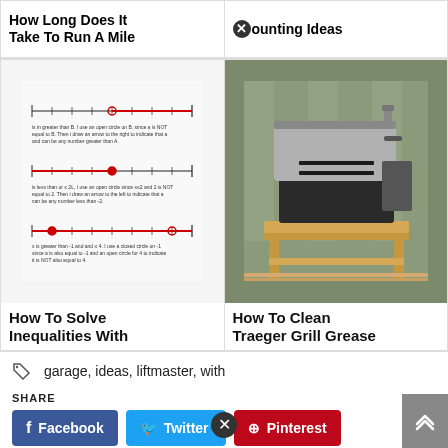How Long Does It Take To Run A Mile
Blind Mini Camera Mounting Ideas
[Figure (illustration): Educational worksheet showing how to solve inequalities on number lines]
How To Solve Inequalities With
[Figure (photo): Photo of a Traeger grill on a wooden stand outdoors]
How To Clean Traeger Grill Grease
garage, ideas, liftmaster, with
SHARE
Facebook
Twitter
Pinterest
Linkedin